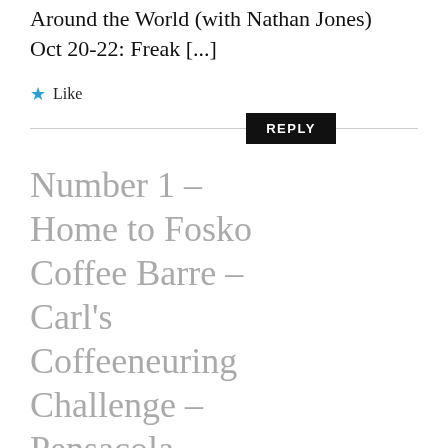Around the World (with Nathan Jones) Oct 20-22: Freak [...]
★ Like
REPLY
Number 1 – Home to Fosko Coffee Barre – Carl's Coffeeneuring Challenge – Pensacola, Florida